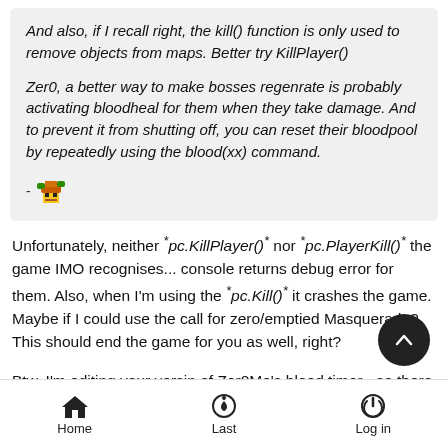And also, if I recall right, the kill() function is only used to remove objects from maps. Better try KillPlayer()

Zer0, a better way to make bosses regenrate is probably activating bloodheal for them when they take damage. And to prevent it from shutting off, you can reset their bloodpool by repeatedly using the blood(xx) command.

-  [emoji]
Unfortunately, neither *pc.KillPlayer()* nor *pc.PlayerKill()* the game IMO recognises... console returns debug error for them. Also, when I'm using the *pc.Kill()* it crashes the game. Maybe if I could use the call for zero/emptied Masquerade? This should end the game for you as well, right?
Btw, I'm editing your versin of Zer0Mo's blood timer - so there is
Home   Last   Log in